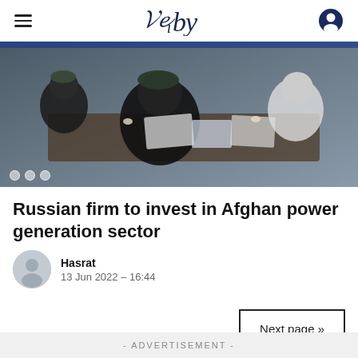≡  [logo]  [user icon]
[Figure (photo): Men in traditional Afghan attire seated around a conference table with documents and items on it.]
Russian firm to invest in Afghan power generation sector
Hasrat
13 Jun 2022 – 16:44
Next page »
- ADVERTISEMENT -